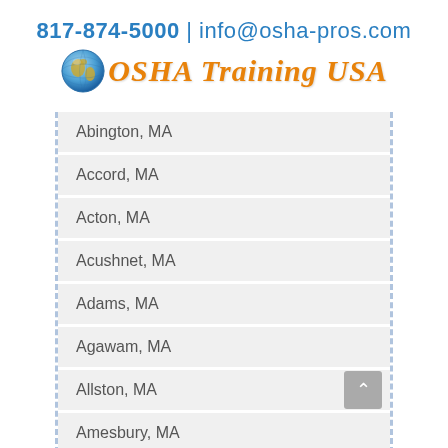817-874-5000 | info@osha-pros.com
[Figure (logo): OSHA Training USA logo with globe icon]
Abington, MA
Accord, MA
Acton, MA
Acushnet, MA
Adams, MA
Agawam, MA
Allston, MA
Amesbury, MA